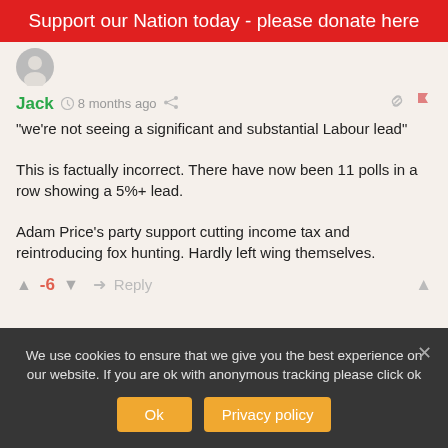Support our Nation today - please donate here
Jack  8 months ago
“we're not seeing a significant and substantial Labour lead”

This is factually incorrect. There have now been 11 polls in a row showing a 5%+ lead.

Adam Price's party support cutting income tax and reintroducing fox hunting. Hardly left wing themselves.
-6  Reply
We use cookies to ensure that we give you the best experience on our website. If you are ok with anonymous tracking please click ok
Ok  Privacy policy